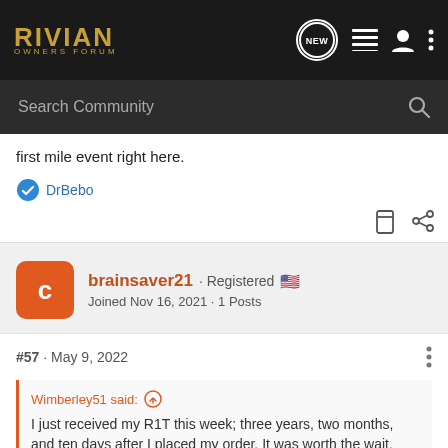RIVIAN OWNERS FORUM
first mile event right here.
DrBebo
brainsaver21 · Registered · Joined Nov 16, 2021 · 1 Posts
#57 · May 9, 2022
Wimberley51 said: ↑
I just received my R1T this week; three years, two months, and ten days after I placed my order. It was worth the wait.